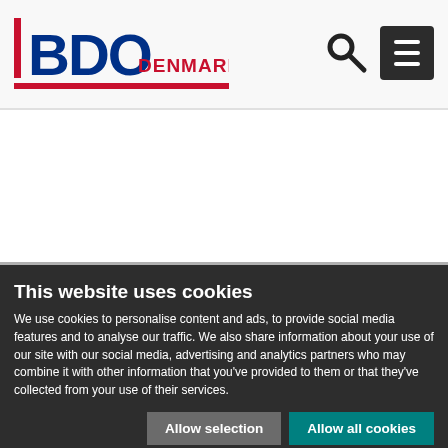[Figure (logo): BDO Denmark logo with red vertical bar accent and red underline]
This website uses cookies
We use cookies to personalise content and ads, to provide social media features and to analyse our traffic. We also share information about your use of our site with our social media, advertising and analytics partners who may combine it with other information that you've provided to them or that they've collected from your use of their services.
Allow selection
Allow all cookies
Necessary (checked), Preferences, Statistics, Marketing, Show details